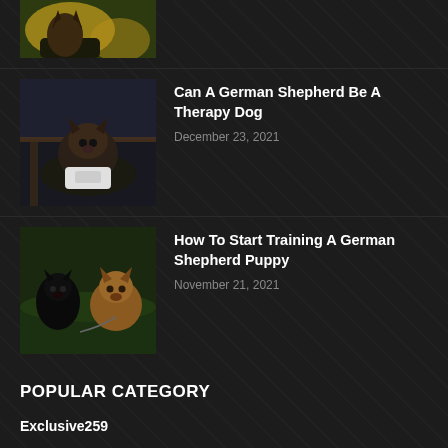[Figure (photo): Partial view of a German Shepherd dog with yellow flowers in the background, cropped at top of page]
[Figure (photo): German Shepherd dog lying down wearing a therapy vest indoors]
Can A German Shepherd Be A Therapy Dog
December 23, 2021
[Figure (photo): Two German Shepherd puppies interacting outdoors on grass]
How To Start Training A German Shepherd Puppy
November 21, 2021
POPULAR CATEGORY
Exclusive259
Popular244
Editor Picks243